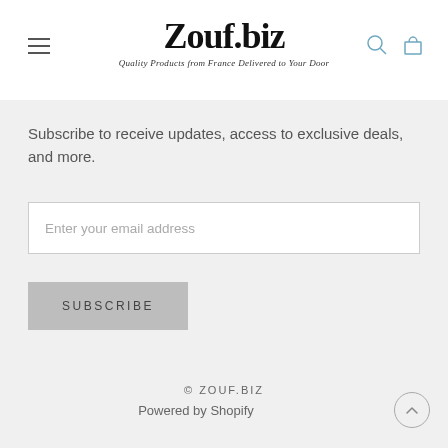Zouf.biz — Quality Products from France Delivered to Your Door
Subscribe to receive updates, access to exclusive deals, and more.
Enter your email address
SUBSCRIBE
© ZOUF.BIZ
Powered by Shopify